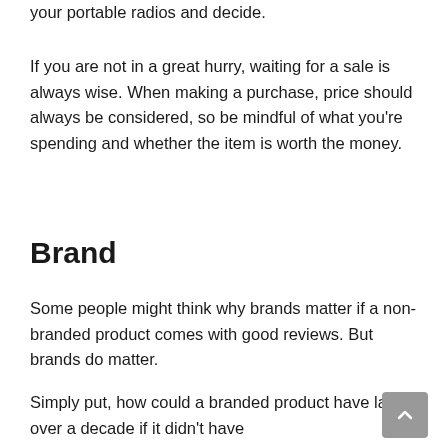your portable radios and decide.
If you are not in a great hurry, waiting for a sale is always wise. When making a purchase, price should always be considered, so be mindful of what you're spending and whether the item is worth the money.
Brand
Some people might think why brands matter if a non-branded product comes with good reviews. But brands do matter.
Simply put, how could a branded product have lasted over a decade if it didn't have